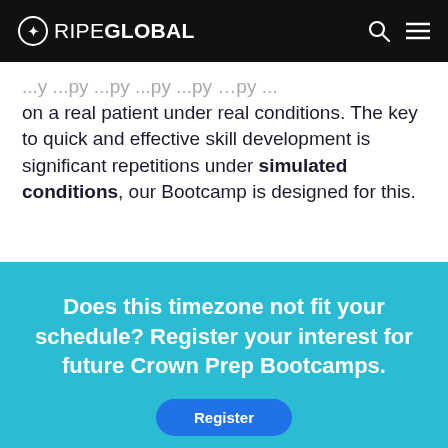RIPEGLOBAL
...apply ...you type ...apply only on a real patient under real conditions. The key to quick and effective skill development is significant repetitions under simulated conditions, our Bootcamp is designed for this.
Does this timezone not fit your schedule? Register your interest for future Crown Prep Bootcamps.